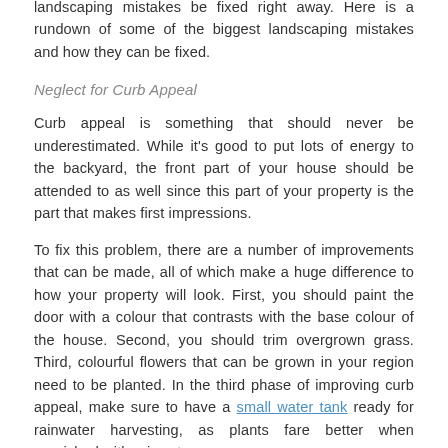landscaping mistakes be fixed right away. Here is a rundown of some of the biggest landscaping mistakes and how they can be fixed.
Neglect for Curb Appeal
Curb appeal is something that should never be underestimated. While it's good to put lots of energy to the backyard, the front part of your house should be attended to as well since this part of your property is the part that makes first impressions.
To fix this problem, there are a number of improvements that can be made, all of which make a huge difference to how your property will look. First, you should paint the door with a colour that contrasts with the base colour of the house. Second, you should trim overgrown grass. Third, colourful flowers that can be grown in your region need to be planted. In the third phase of improving curb appeal, make sure to have a small water tank ready for rainwater harvesting, as plants fare better when nourished with rainwater.
Too Many Lawn Decors!
Lawn decorative items are exactly that—items intended to improve the appearance of the lawn. As such, it's no surprise